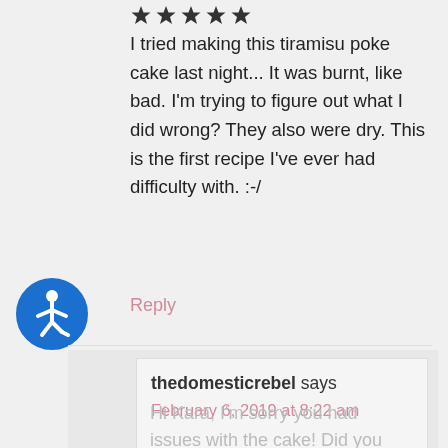[Figure (other): Five filled star rating icons]
I tried making this tiramisu poke cake last night... It was burnt, like bad. I’m trying to figure out what I did wrong? They also were dry. This is the first recipe I’ve ever had difficulty with. :-/
[Figure (other): Accessibility icon - blue circle with white figure in wheelchair]
Reply
thedomesticrebel says
February 6, 2019 at 8:22 am
Hi Kara, I’m sorry you had issues with the cake! Did you